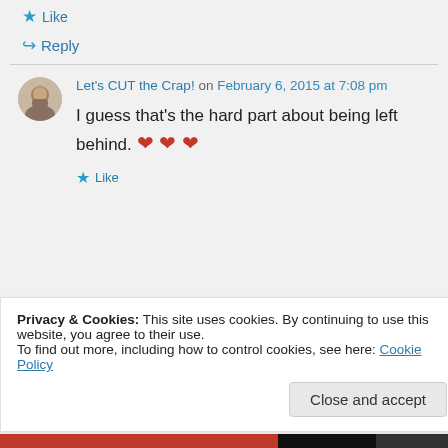★ Like
↪ Reply
Let's CUT the Crap! on February 6, 2015 at 7:08 pm
I guess that's the hard part about being left behind. ❤ ❤ ❤
★ Like
Privacy & Cookies: This site uses cookies. By continuing to use this website, you agree to their use.
To find out more, including how to control cookies, see here: Cookie Policy